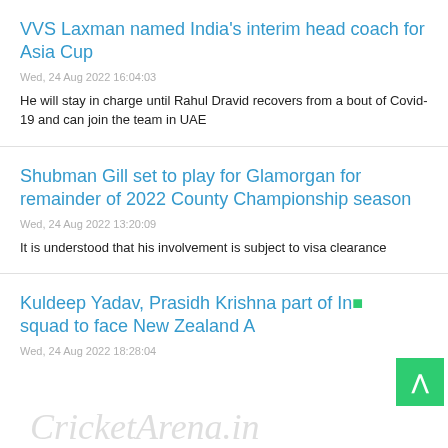VVS Laxman named India's interim head coach for Asia Cup
Wed, 24 Aug 2022 16:04:03
He will stay in charge until Rahul Dravid recovers from a bout of Covid-19 and can join the team in UAE
Shubman Gill set to play for Glamorgan for remainder of 2022 County Championship season
Wed, 24 Aug 2022 13:20:09
It is understood that his involvement is subject to visa clearance
Kuldeep Yadav, Prasidh Krishna part of India squad to face New Zealand A
Wed, 24 Aug 2022 18:28:04